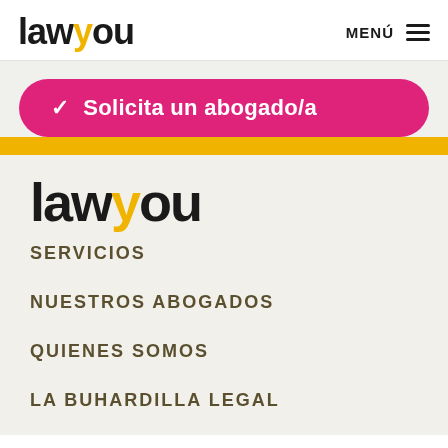[Figure (logo): Lawyou logo in header — black text with yellow 'y', bold sans-serif]
MENÚ ☰
[Figure (infographic): Pink rounded button: checkmark icon followed by 'Solicita un abogado/a' in white bold text]
[Figure (logo): Large Lawyou logo in menu overlay — black text with yellow 'y']
SERVICIOS
NUESTROS ABOGADOS
QUIENES SOMOS
LA BUHARDILLA LEGAL